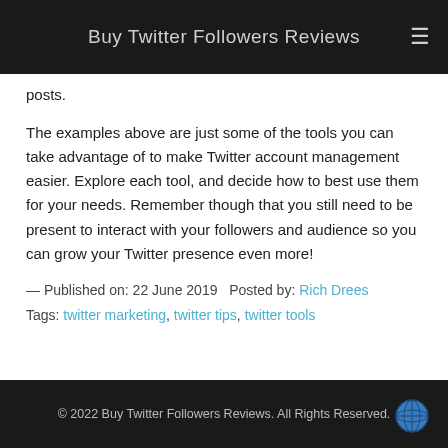Buy Twitter Followers Reviews
posts.
The examples above are just some of the tools you can take advantage of to make Twitter account management easier. Explore each tool, and decide how to best use them for your needs. Remember though that you still need to be present to interact with your followers and audience so you can grow your Twitter presence even more!
— Published on: 22 June 2019   Posted by: Rich Drees
Tags: twitter marketing, twitter tips, twitter tools
© 2022 Buy Twitter Followers Reviews. All Rights Reserved.